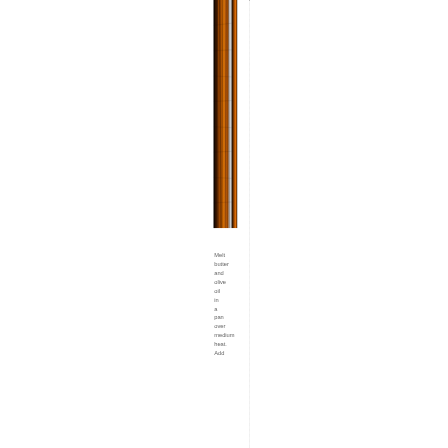[Figure (photo): A narrow vertical strip photograph showing what appears to be grilled or roasted meat with a golden-brown caramelized surface]
Melt butter and olive oil in a pan over medium heat. Add